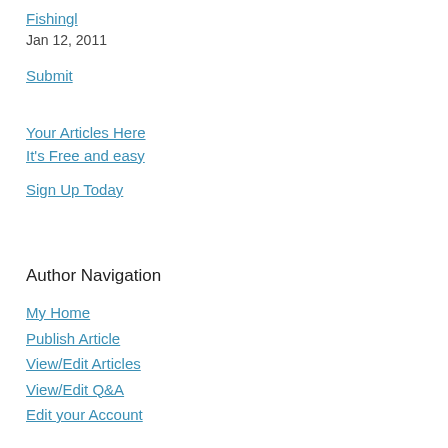Fishingl
Jan 12, 2011
Submit
Your Articles Here
It's Free and easy
Sign Up Today
Author Navigation
My Home
Publish Article
View/Edit Articles
View/Edit Q&A
Edit your Account